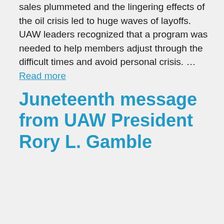sales plummeted and the lingering effects of the oil crisis led to huge waves of layoffs. UAW leaders recognized that a program was needed to help members adjust through the difficult times and avoid personal crisis. … Read more
Juneteenth message from UAW President Rory L. Gamble